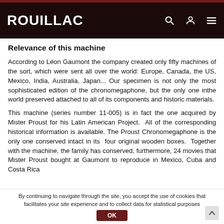ROUILLAC
Relevance of this machine
According to Léon Gaumont the company created only fifty machines of the sort, which were sent all over the world: Europe, Canada, the US, Mexico, India, Australia, Japan... Our specimen is not only the most sophisticated edition of the chronomegaphone, but the only one inthe world preserved attached to all of its components and historic materials.
This machine (series number 11-005) is in fact the one acquired by Mister Proust for his Latin American Project.  All of the corresponding historical information is available. The Proust Chronomegaphone is the only one conserved intact in its  four original wooden boxes.  Together with the machine, the family has conserved, furthermore, 24 movies that Mister Proust bought at Gaumont to reproduce in Mexico, Cuba and Costa Rica
By continuing to navigate through the site, you accept the use of cookies that facilitates your site experience and to collect data for statistical purposes